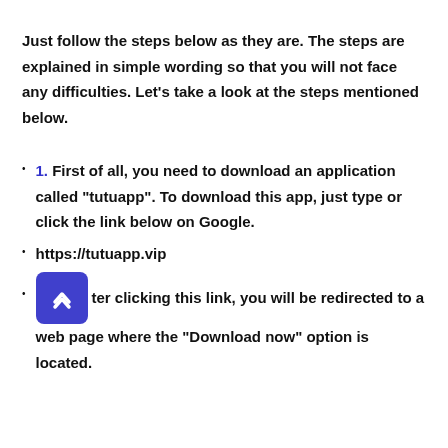Just follow the steps below as they are. The steps are explained in simple wording so that you will not face any difficulties. Let’s take a look at the steps mentioned below.
1. First of all, you need to download an application called "tutuapp". To download this app, just type or click the link below on Google.
https://tutuapp.vip
After clicking this link, you will be redirected to a web page where the "Download now" option is located.